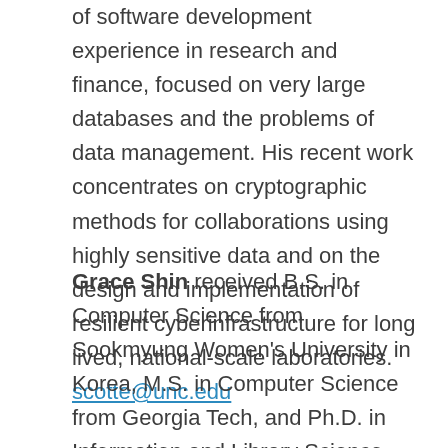of software development experience in research and finance, focused on very large databases and the problems of data management. His recent work concentrates on cryptographic methods for collaborations using highly sensitive data and on the design and implementation of resilient cyberinfrastructure for long lived, national-scale laboratories. scotte@unc.edu
Grace Shin received B.S. in Computer Science from Sookmyung Women's University in Korea, M.S. in Computer Science from Georgia Tech, and Ph.D. in Information and Library Science from UNC Chapel Hill. Before joining this SILS community (right